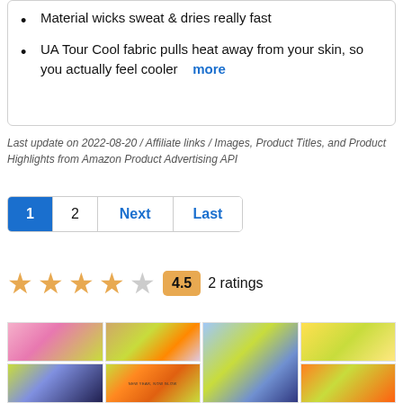Material wicks sweat & dries really fast
UA Tour Cool fabric pulls heat away from your skin, so you actually feel cooler  more
Last update on 2022-08-20 / Affiliate links / Images, Product Titles, and Product Highlights from Amazon Product Advertising API
1  2  Next  Last
★★★★☆  4.5  2 ratings
[Figure (photo): Grid of product photos on lime-green backgrounds: sportswear, shoes, bags, and activewear items]